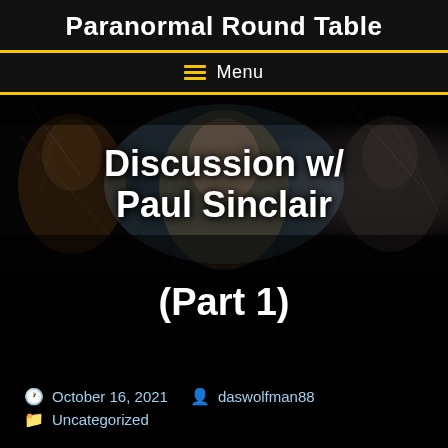Paranormal Round Table
Menu
[Figure (photo): Dark paranormal-themed banner image with shadowy faces and eerie lighting, overlaid with bold white text: Discussion w/ Paul Sinclair]
Discussion w/ Paul Sinclair (Part 1)
October 16, 2021   daswolfman88   Uncategorized